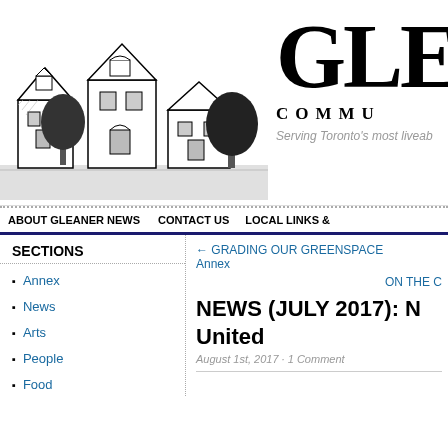[Figure (illustration): Black and white engraving-style illustration of Victorian houses with trees]
GLE
COMMU
Serving Toronto's most liveab
ABOUT GLEANER NEWS   CONTACT US   LOCAL LINKS &
SECTIONS
Annex
News
Arts
People
Food
← GRADING OUR GREENSPACE Annex
ON THE C
NEWS (JULY 2017): N United
August 1st, 2017 · 1 Comment